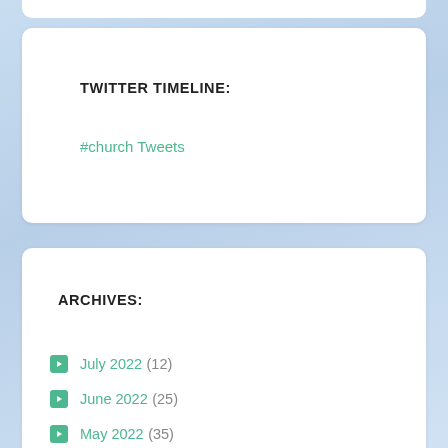TWITTER TIMELINE:
#church Tweets
ARCHIVES:
July 2022 (12)
June 2022 (25)
May 2022 (35)